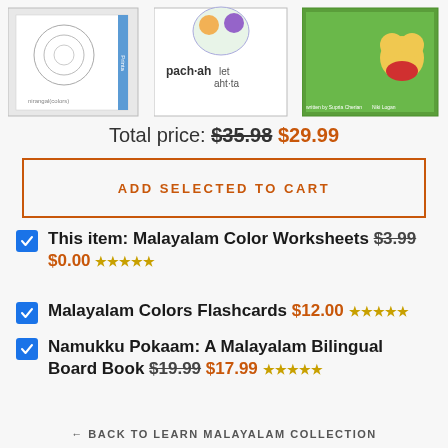[Figure (photo): Three product book/flashcard images at top of page]
Total price: $35.98 $29.99
ADD SELECTED TO CART
This item: Malayalam Color Worksheets $3.99 $0.00 ★★★★★
Malayalam Colors Flashcards $12.00 ★★★★★
Namukku Pokaam: A Malayalam Bilingual Board Book $19.99 $17.99 ★★★★★
← BACK TO LEARN MALAYALAM COLLECTION